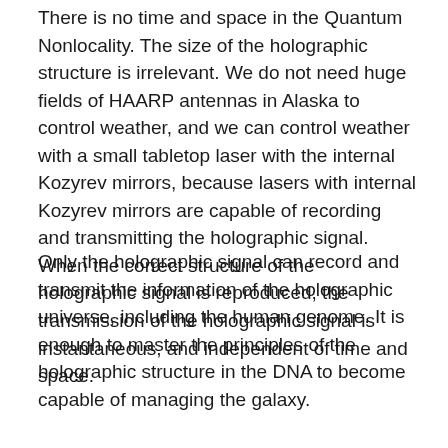There is no time and space in the Quantum Nonlocality. The size of the holographic structure is irrelevant. We do not need huge fields of HAARP antennas in Alaska to control weather, and we can control weather with a small tabletop laser with the internal Kozyrev mirrors, because lasers with internal Kozyrev mirrors are capable of recording and transmitting the holographic signal. When the correct structure of the holographic signal is reproduced, the transmission of the holographic signal is instantaneous, and independent of time and space.
Only the holographic signal can record and transmit the information of the holographic universe, including the human genome. It is enough to master the principles of the holographic structure in the DNA to become capable of managing the galaxy.